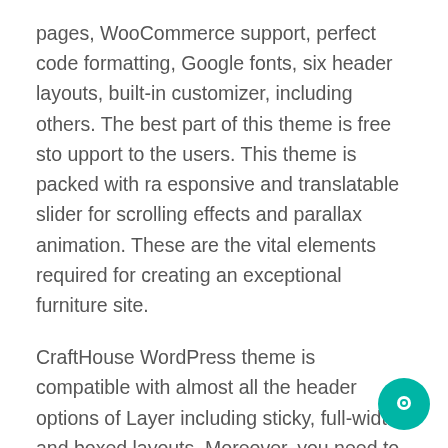pages, WooCommerce support, perfect code formatting, Google fonts, six header layouts, built-in customizer, including others. The best part of this theme is free sto upport to the users. This theme is packed with ra esponsive and translatable slider for scrolling effects and parallax animation. These are the vital elements required for creating an exceptional furniture site.
CraftHouse WordPress theme is compatible with almost all the header options of Layer including sticky, full-width and boxed layouts. Moreover, you need to be a coding expert to get the web design of your preference. You can easily create almost anything you want on the CraftHouse WordPress theme.